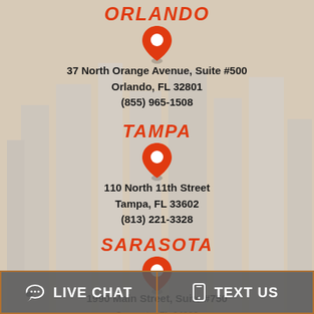ORLANDO
[Figure (illustration): Orange map pin icon for Orlando location]
37 North Orange Avenue, Suite #500
Orlando, FL 32801
(855) 965-1508
TAMPA
[Figure (illustration): Orange map pin icon for Tampa location]
110 North 11th Street
Tampa, FL 33602
(813) 221-3328
SARASOTA
[Figure (illustration): Orange map pin icon for Sarasota location]
1990 Main Street, Suite #750
Sarasota, FL 34236
LIVE CHAT   TEXT US